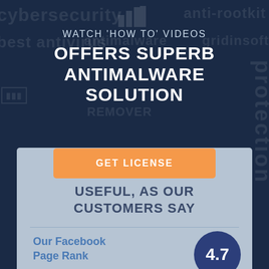[Figure (screenshot): Dark blue background with watermark text words: cybersecurity, anti-rootkit, best antivirus, antimalware, gridinsoft, protection, bar chart icons]
WATCH 'HOW TO' VIDEOS
OFFERS SUPERB ANTIMALWARE SOLUTION
[Figure (infographic): Orange button labeled GET LICENSE]
USEFUL, AS OUR CUSTOMERS SAY
Our Facebook Page Rank
[Figure (infographic): Dark blue circle with large white text 4.7]
4.7 out of 5
I highly recommend Gridinsoft Antimalware to anyone suffering from 21st Century non-detectable malware by well-known brands!